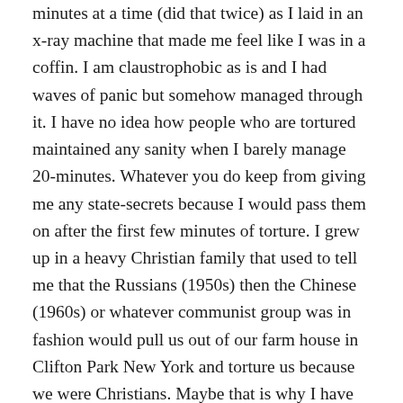minutes at a time (did that twice) as I laid in an x-ray machine that made me feel like I was in a coffin. I am claustrophobic as is and I had waves of panic but somehow managed through it. I have no idea how people who are tortured maintained any sanity when I barely manage 20-minutes. Whatever you do keep from giving me any state-secrets because I would pass them on after the first few minutes of torture. I grew up in a heavy Christian family that used to tell me that the Russians (1950s) then the Chinese (1960s) or whatever communist group was in fashion would pull us out of our farm house in Clifton Park New York and torture us because we were Christians. Maybe that is why I have spent the last 50 years of getting away from Christian indoctrination because of the torture that the Russians and Chinese would inflict upon us. I had Chinese nurses and doctors torture me yesterday but it was because of my heart so maybe that is OK. Other torture silliness yesterday included being on a treadmill until I almost was dead. They had lots of wires hooked up to me and the treadmill would go faster every few minutes and then they would take my blood pressure. They got me up to